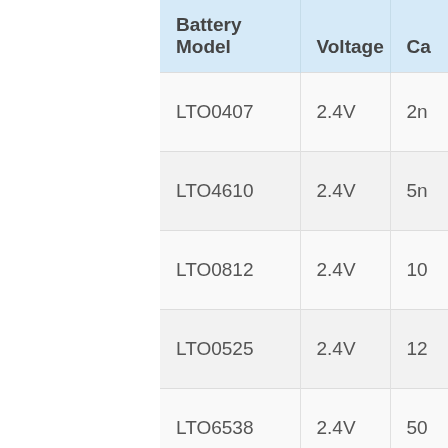| Battery Model | Voltage | Ca… |
| --- | --- | --- |
| LTO0407 | 2.4V | 2n… |
| LTO4610 | 2.4V | 5n… |
| LTO0812 | 2.4V | 10… |
| LTO0525 | 2.4V | 12… |
| LTO6538 | 2.4V | 50… |